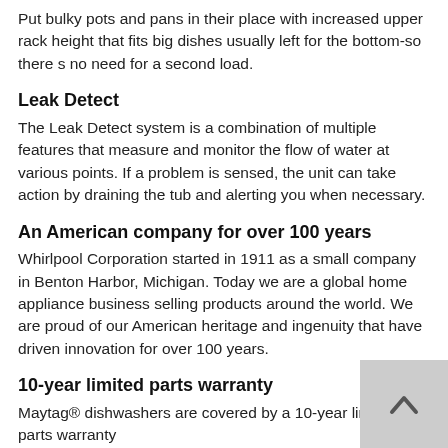Put bulky pots and pans in their place with increased upper rack height that fits big dishes usually left for the bottom-so there s no need for a second load.
Leak Detect
The Leak Detect system is a combination of multiple features that measure and monitor the flow of water at various points. If a problem is sensed, the unit can take action by draining the tub and alerting you when necessary.
An American company for over 100 years
Whirlpool Corporation started in 1911 as a small company in Benton Harbor, Michigan. Today we are a global home appliance business selling products around the world. We are proud of our American heritage and ingenuity that have driven innovation for over 100 years.
10-year limited parts warranty
Maytag® dishwashers are covered by a 10-year limited parts warranty
Built for the long haul
We packed in sturdy stainless steel that s ready for cycle